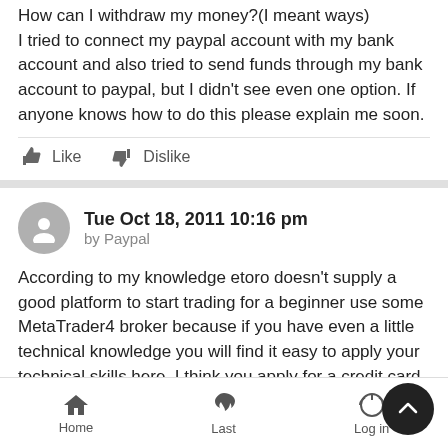How can I withdraw my money?(I meant ways) I tried to connect my paypal account with my bank account and also tried to send funds through my bank account to paypal, but I didn't see even one option. If anyone knows how to do this please explain me soon.
Like    Dislike
Tue Oct 18, 2011 10:16 pm
by Paypal
According to my knowledge etoro doesn't supply a good platform to start trading for a beginner use some MetaTrader4 broker because if you have even a little technical knowledge you will find it easy to apply your technical skills here. I think you apply for a credit card if you can deposit a certain amount of money through some major banks as well as their is an option
Home    Last    Log in